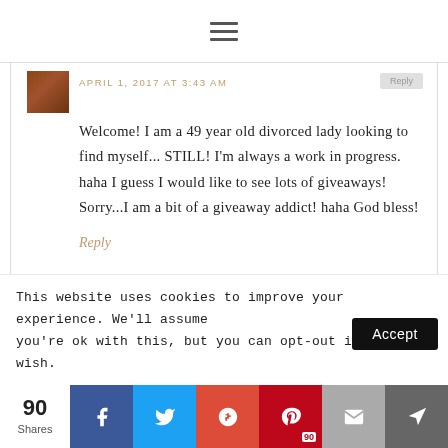≡ (hamburger menu icon)
APRIL 1, 2017 AT 3:43 AM
Welcome! I am a 49 year old divorced lady looking to find myself... STILL! I'm always a work in progress. haha I guess I would like to see lots of giveaways! Sorry...I am a bit of a giveaway addict! haha God bless!
Reply
This website uses cookies to improve your experience. We'll assume you're ok with this, but you can opt-out if you wish.
Accept
90 Shares